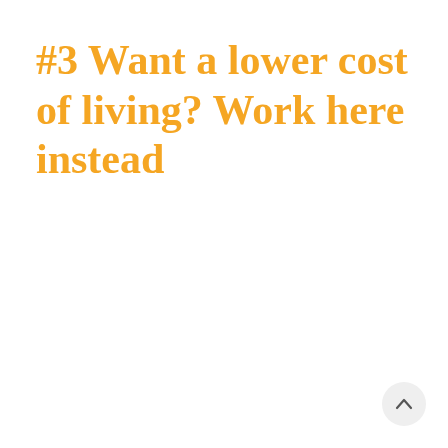#3 Want a lower cost of living? Work here instead